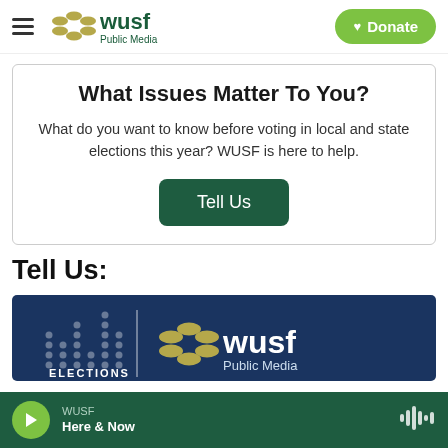WUSF Public Media — Donate
What Issues Matter To You?
What do you want to know before voting in local and state elections this year? WUSF is here to help.
Tell Us:
[Figure (logo): WUSF Public Media Elections banner on dark navy background]
WUSF Here & Now